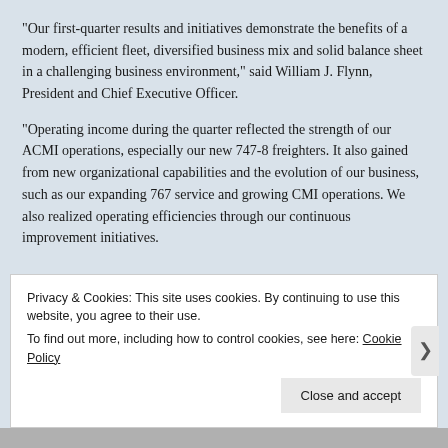“Our first-quarter results and initiatives demonstrate the benefits of a modern, efficient fleet, diversified business mix and solid balance sheet in a challenging business environment,” said William J. Flynn, President and Chief Executive Officer.
“Operating income during the quarter reflected the strength of our ACMI operations, especially our new 747-8 freighters. It also gained from new organizational capabilities and the evolution of our business, such as our expanding 767 service and growing CMI operations. We also realized operating efficiencies through our continuous improvement initiatives.
Privacy & Cookies: This site uses cookies. By continuing to use this website, you agree to their use.
To find out more, including how to control cookies, see here: Cookie Policy